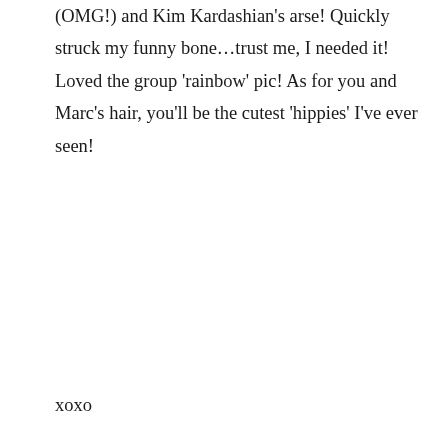(OMG!) and Kim Kardashian's arse! Quickly struck my funny bone…trust me, I needed it! Loved the group 'rainbow' pic! As for you and Marc's hair, you'll be the cutest 'hippies' I've ever seen!
xoxo
★ Like
REPLY
canadianoboystravel  March 4, 2018 – 8:54 am